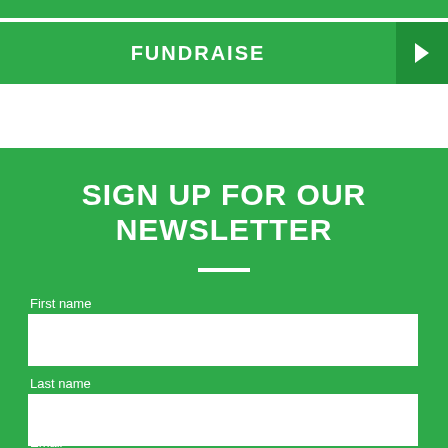FUNDRAISE
SIGN UP FOR OUR NEWSLETTER
First name
Last name
Email